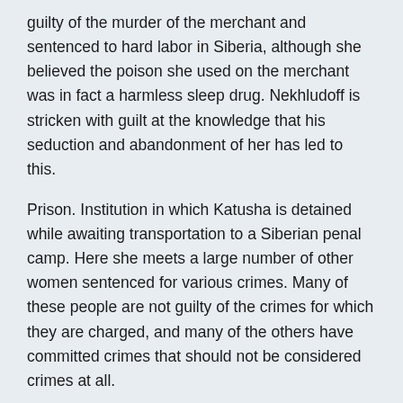guilty of the murder of the merchant and sentenced to hard labor in Siberia, although she believed the poison she used on the merchant was in fact a harmless sleep drug. Nekhludoff is stricken with guilt at the knowledge that his seduction and abandonment of her has led to this.
Prison. Institution in which Katusha is detained while awaiting transportation to a Siberian penal camp. Here she meets a large number of other women sentenced for various crimes. Many of these people are not guilty of the crimes for which they are charged, and many of the others have committed crimes that should not be considered crimes at all.
*Moscow. Russia's largest city, in which